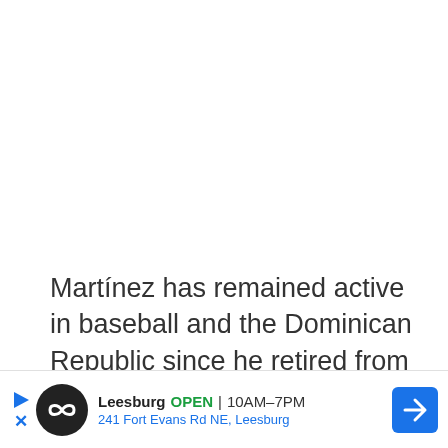Martínez has remained active in baseball and the Dominican Republic since he retired from the Major Leagues.
He and his wife Carolina run the Pedro Martínez Foundation, which started in 1998 as the P…
[Figure (other): Advertisement banner for Leesburg store showing logo, store hours OPEN 10AM–7PM, address 241 Fort Evans Rd NE Leesburg, and navigation arrow icon]